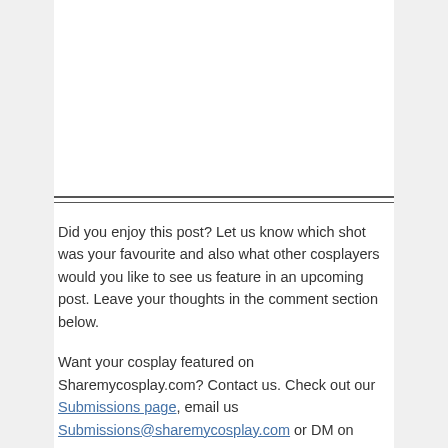Did you enjoy this post? Let us know which shot was your favourite and also what other cosplayers would you like to see us feature in an upcoming post. Leave your thoughts in the comment section below.
Want your cosplay featured on Sharemycosplay.com? Contact us. Check out our Submissions page, email us Submissions@sharemycosplay.com or DM on